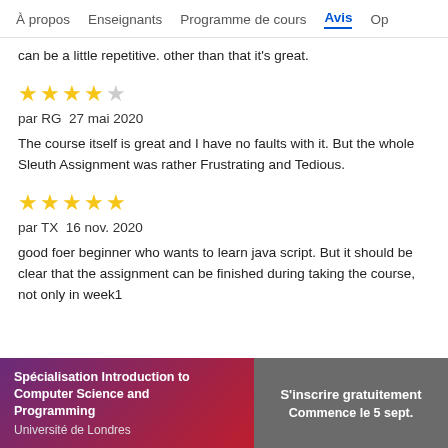À propos   Enseignants   Programme de cours   Avis   Op
can be a little repetitive. other than that it's great.
[Figure (other): 4 out of 5 stars rating]
par RG  27 mai 2020
The course itself is great and I have no faults with it. But the whole Sleuth Assignment was rather Frustrating and Tedious.
[Figure (other): 5 out of 5 stars rating]
par TX  16 nov. 2020
good foer beginner who wants to learn java script. But it should be clear that the assignment can be finished during taking the course, not only in week1
Spécialisation Introduction to Computer Science and Programming
Université de Londres
S'inscrire gratuitement
Commence le 5 sept.